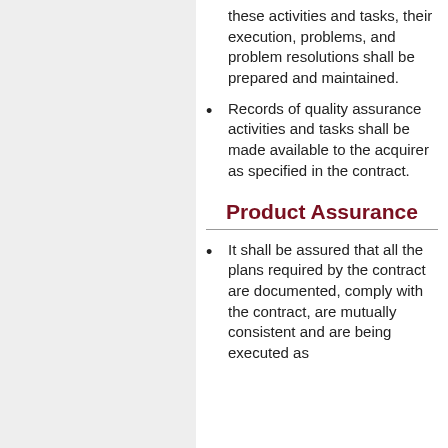these activities and tasks, their execution, problems, and problem resolutions shall be prepared and maintained.
Records of quality assurance activities and tasks shall be made available to the acquirer as specified in the contract.
Product Assurance
It shall be assured that all the plans required by the contract are documented, comply with the contract, are mutually consistent and are being executed as